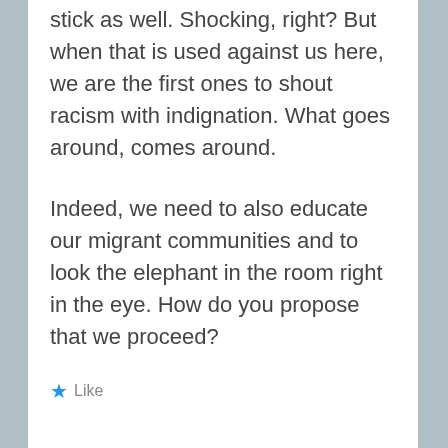Somalis got the short end of the stick as well. Shocking, right? But when that is used against us here, we are the first ones to shout racism with indignation. What goes around, comes around.
Indeed, we need to also educate our migrant communities and to look the elephant in the room right in the eye. How do you propose that we proceed?
Like